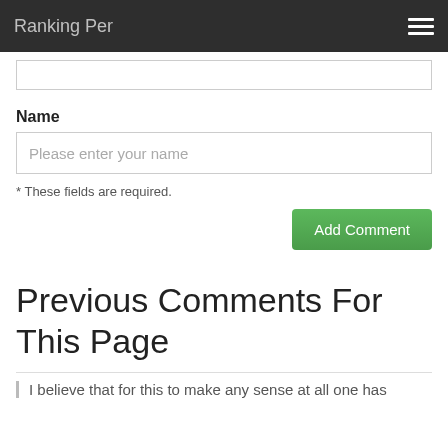Ranking Per
Name
Please enter your name
* These fields are required.
Add Comment
Previous Comments For This Page
I believe that for this to make any sense at all one has